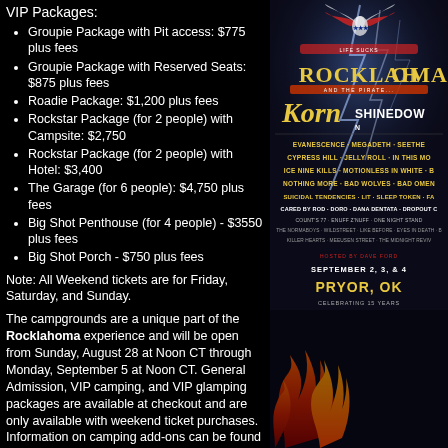VIP Packages:
Groupie Package with Pit access: $775 plus fees
Groupie Package with Reserved Seats: $875 plus fees
Roadie Package: $1,200 plus fees
Rockstar Package (for 2 people) with Campsite: $2,750
Rockstar Package (for 2 people) with Hotel: $3,400
The Garage (for 6 people): $4,750 plus fees
Big Shot Penthouse (for 4 people) - $3550 plus fees
Big Shot Porch - $750 plus fees
Note: All Weekend tickets are for Friday, Saturday, and Sunday.
The campgrounds are a unique part of the Rocklahoma experience and will be open from Sunday, August 28 at Noon CT through Monday, September 5 at Noon CT. General Admission, VIP camping, and VIP glamping packages are available at checkout and are only available with weekend ticket purchases. Information on camping add-ons can be found at https://rocklahoma.com/camping.html.
Fans are invited to kick off the party early at The Roadhouse where loc Old...
[Figure (illustration): Rocklahoma music festival poster featuring Korn, Shinedown, Evanescence, Megadeth, Seether, Cypress Hill, Jelly Roll, In This Moment, Ice Nine Kills, Motionless In White, Nothing More, Bad Wolves, Bad Omens, Suicidal Tendencies, Lit, Sleep Token, and many more bands. Event dates: September 2, 3, & 4 in Pryor, OK. Celebrating 15 years.]